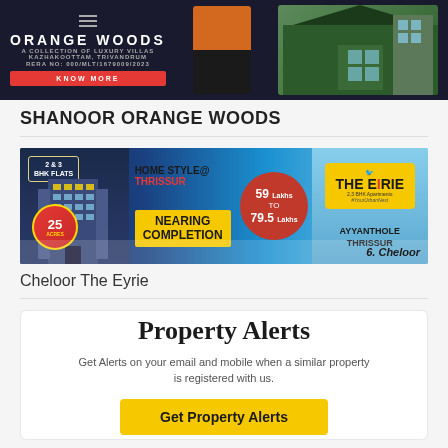[Figure (photo): Orange Woods luxury villa advertisement banner with building and person, dark background, Kazhakoottam Trivandrum]
SHANOOR ORANGE WOODS
[Figure (photo): Cheloor The Eyrie apartment advertisement banner: 2&3 BHK Flats, Home Style @ Thrissur, Nearing Completion, 59 Lakhs to 79.5 Lakhs, 25 Acres, Ayyanthole Thrissur]
Cheloor The Eyrie
Property Alerts
Get Alerts on your email and mobile when a similar property is registered with us.
Get Property Alerts